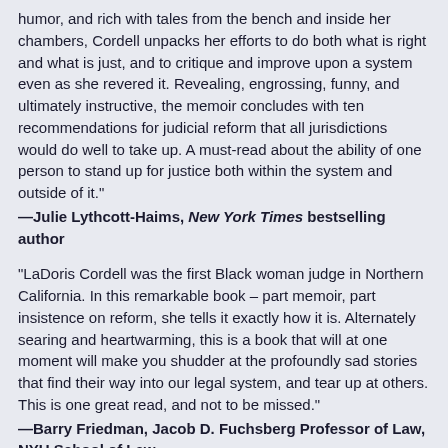humor, and rich with tales from the bench and inside her chambers, Cordell unpacks her efforts to do both what is right and what is just, and to critique and improve upon a system even as she revered it. Revealing, engrossing, funny, and ultimately instructive, the memoir concludes with ten recommendations for judicial reform that all jurisdictions would do well to take up. A must-read about the ability of one person to stand up for justice both within the system and outside of it."
—Julie Lythcott-Haims, New York Times bestselling author
"LaDoris Cordell was the first Black woman judge in Northern California. In this remarkable book – part memoir, part insistence on reform, she tells it exactly how it is. Alternately searing and heartwarming, this is a book that will at one moment will make you shudder at the profoundly sad stories that find their way into our legal system, and tear up at others. This is one great read, and not to be missed."
—Barry Friedman, Jacob D. Fuchsberg Professor of Law, NYU School of Law
"Beautifully written and riveting from start to finish, this remarkable memoir by one of our nation's most pathbreaking jurists seamlessly interweaves vivid and often gut-wrenching courtroom scenes with fascinating legal history and candid personal reflection to provide a unique glimpse inside the process of judicial decision-making. A brave, profound and affecting book that combines wisdom, candor, wit and humanity in equal measure, Her Honor is a sterling embodiment of the meaning of